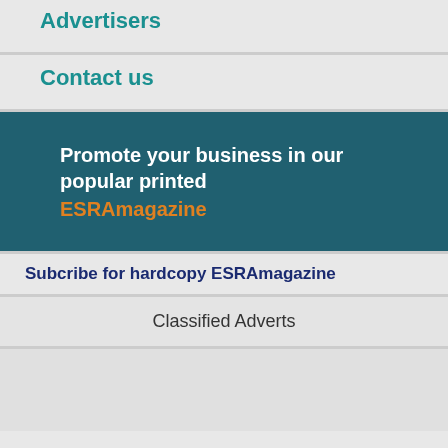Advertisers
Contact us
Promote your business in our popular printed ESRAmagazine
Subcribe for hardcopy ESRAmagazine
Classified Adverts